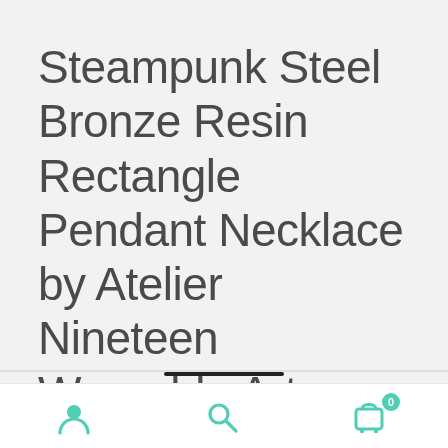Steampunk Steel Bronze Resin Rectangle Pendant Necklace by Atelier Nineteen Wearable Art
€19.20  €13.44
Navigation icons: user, search, cart (0)